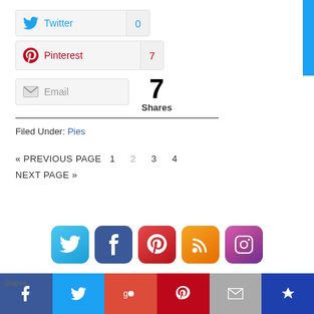[Figure (infographic): Twitter share button with bird icon, label 'Twitter', and count '0']
[Figure (infographic): Pinterest share button with P icon, label 'Pinterest', and count '7']
[Figure (infographic): Email share button with envelope icon and label 'Email', next to large '7 Shares' count]
Filed Under: Pies
« PREVIOUS PAGE  1  2  3  4  NEXT PAGE »
[Figure (infographic): Row of 5 social media icons: Twitter (blue), Facebook (dark blue), Pinterest (red), RSS (orange), Instagram (purple/orange gradient)]
[Figure (infographic): Bottom share bar with Facebook, Twitter, Google+, Pinterest, Email, and one more share button icons. 'Shares' label bottom left.]